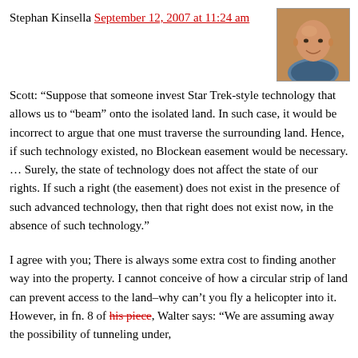Stephan Kinsella  September 12, 2007 at 11:24 am
[Figure (photo): Headshot photo of a bald smiling man against a warm background]
Scott: “Suppose that someone invest Star Trek-style technology that allows us to “beam” onto the isolated land. In such case, it would be incorrect to argue that one must traverse the surrounding land. Hence, if such technology existed, no Blockean easement would be necessary. … Surely, the state of technology does not affect the state of our rights. If such a right (the easement) does not exist in the presence of such advanced technology, then that right does not exist now, in the absence of such technology.”
I agree with you; There is always some extra cost to finding another way into the property. I cannot conceive of how a circular strip of land can prevent access to the land–why can’t you fly a helicopter into it. However, in fn. 8 of his piece, Walter says: “We are assuming away the possibility of tunneling under,